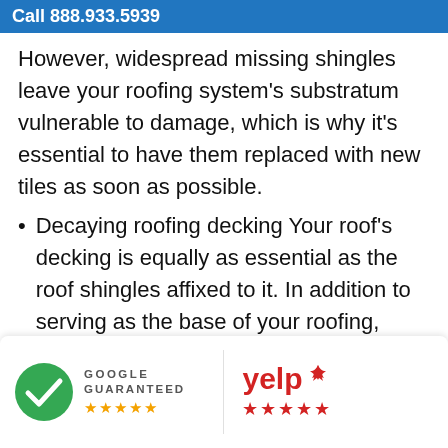Call 888.933.5939
However, widespread missing shingles leave your roofing system's substratum vulnerable to damage, which is why it's essential to have them replaced with new tiles as soon as possible.
Decaying roofing decking Your roof's decking is equally as essential as the roof shingles affixed to it. In addition to serving as the base of your roofing, water-proof outdoor decking additionally operates as a secondary moisture obstacle if there's a pact other parts ngi as well as
[Figure (logo): Google Guaranteed badge with green checkmark and five orange stars]
[Figure (logo): Yelp logo with five red stars]